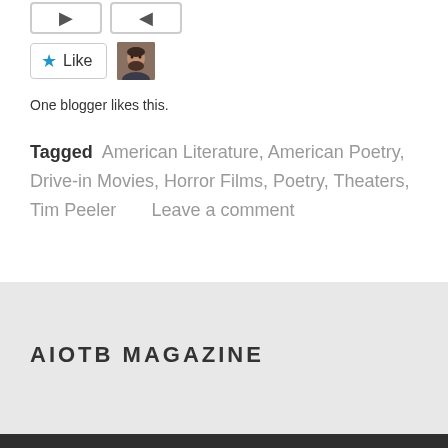[Figure (other): Two social sharing buttons (arrow icons) partially visible at top]
[Figure (other): Like button with blue star and Like text, next to avatar photo of a bearded man]
One blogger likes this.
Tagged American Literature, American Poetry, Drive-in Movies, Horror Films, Poetry, Theaters, Tim Peeler      Leave a comment
AIOTB MAGAZINE